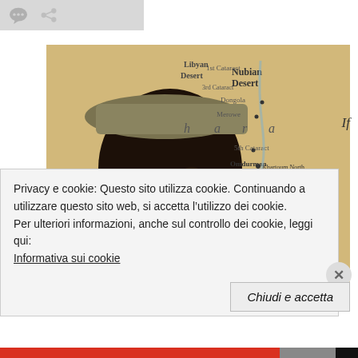[Figure (photo): Portrait of a young African child wearing a military-style cap, overlaid on a vintage map of Sudan showing locations like Khartoum, Omdurman, the Nubian Desert, Libyan Desert, and various cataracts of the Nile.]
If
Privacy e cookie: Questo sito utilizza cookie. Continuando a utilizzare questo sito web, si accetta l'utilizzo dei cookie.
Per ulteriori informazioni, anche sul controllo dei cookie, leggi qui:
Informativa sui cookie
Chiudi e accetta